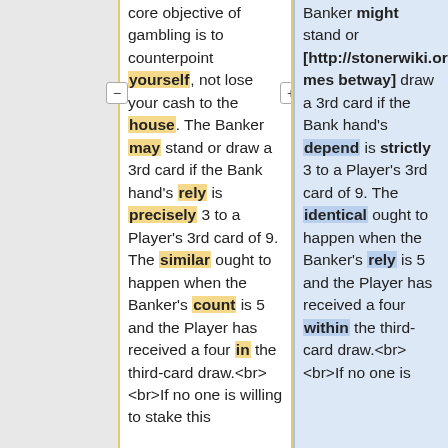core objective of gambling is to counterpoint yourself, not lose your cash to the house. The Banker may stand or draw a 3rd card if the Bank hand's rely is precisely 3 to a Player's 3rd card of 9. The similar ought to happen when the Banker's count is 5 and the Player has received a four in the third-card draw.<br><br>If no one is willing to stake this
Banker might stand or [http://stonerwiki.org/index.php/Play_Baccarat_Pro_For_Free_From_Netent_Games betway] draw a 3rd card if the Bank hand's depend is strictly 3 to a Player's 3rd card of 9. The identical ought to happen when the Banker's rely is 5 and the Player has received a four within the third-card draw.<br><br>If no one is